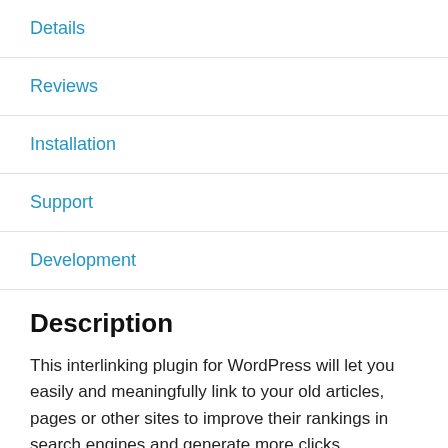Details
Reviews
Installation
Support
Development
Description
This interlinking plugin for WordPress will let you easily and meaningfully link to your old articles, pages or other sites to improve their rankings in search engines and generate more clicks.
The Internal Link Building plugin lets you assign keywords to given destination URLs. This way your